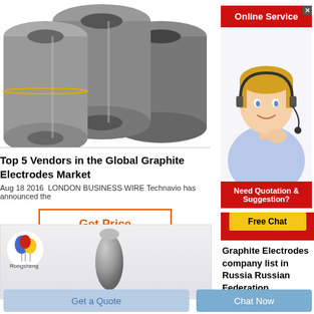[Figure (photo): Photo of graphite electrodes - cylindrical gray rods with threaded ends]
Top 5 Vendors in the Global Graphite Electrodes Market
Aug 18 2016  LONDON BUSINESS WIRE Technavio has announced the
Get Price
[Figure (photo): Rongsheng logo and electrode shape image]
[Figure (photo): Online Service banner with customer service representative photo and Free Chat button]
Graphite Electrodes company list in Russia Russian Federation
Get a Quote
Chat Now